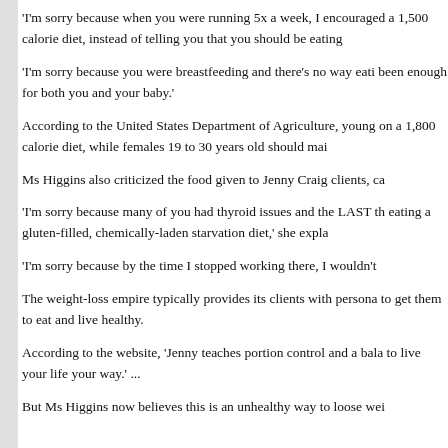'I'm sorry because when you were running 5x a week, I encouraged a 1,500 calorie diet, instead of telling you that you should be eating
'I'm sorry because you were breastfeeding and there's no way eating been enough for both you and your baby.'
According to the United States Department of Agriculture, young on a 1,800 calorie diet, while females 19 to 30 years old should mai
Ms Higgins also criticized the food given to Jenny Craig clients, ca
'I'm sorry because many of you had thyroid issues and the LAST th eating a gluten-filled, chemically-laden starvation diet,' she expla
'I'm sorry because by the time I stopped working there, I wouldn't
The weight-loss empire typically provides its clients with persona to get them to eat and live healthy.
According to the website, 'Jenny teaches portion control and a bala to live your life your way.' ...
But Ms Higgins now believes this is an unhealthy way to loose wei